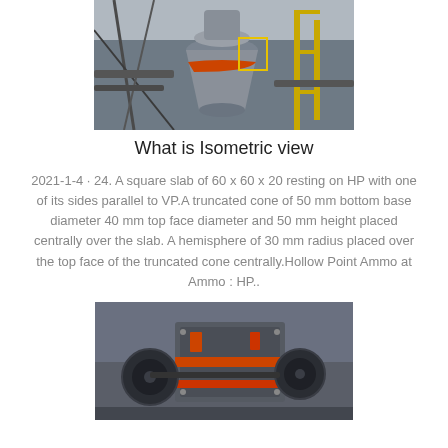[Figure (photo): Aerial/overhead view of an industrial crusher or cone crusher machine at a facility, with yellow scaffolding and pipes visible.]
What is Isometric view
2021-1-4 · 24. A square slab of 60 x 60 x 20 resting on HP with one of its sides parallel to VP.A truncated cone of 50 mm bottom base diameter 40 mm top face diameter and 50 mm height placed centrally over the slab. A hemisphere of 30 mm radius placed over the top face of the truncated cone centrally.Hollow Point Ammo at Ammo : HP..
[Figure (photo): Industrial crushing machine with black and orange components, including jaw crusher and conveyor belt machinery in a factory setting.]